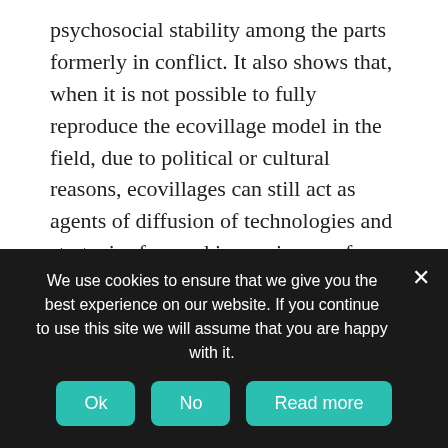psychosocial stability among the parts formerly in conflict. It also shows that, when it is not possible to fully reproduce the ecovillage model in the field, due to political or cultural reasons, ecovillages can still act as agents of diffusion of technologies and strategies for working on issues of trauma, power, identity and historical memory between parts in conflict, as well as promoting energy autonomy and food security among those in disadvantaged positions.

The article begins with a dialogue between literature on regenerative peacebuilding and ecovillages. It
We use cookies to ensure that we give you the best experience on our website. If you continue to use this site we will assume that you are happy with it.